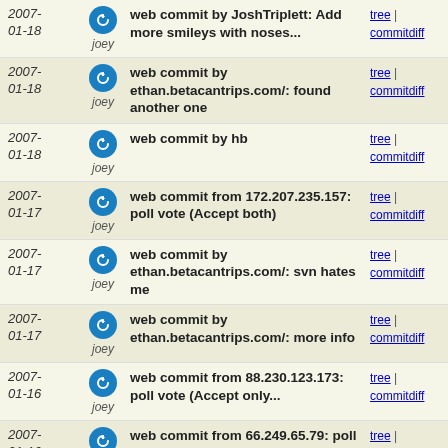2007-01-18 | joey | web commit by JoshTriplett: Add more smileys with noses... | tree | commitdiff
2007-01-18 | joey | web commit by ethan.betacantrips.com/: found another one | tree | commitdiff
2007-01-18 | joey | web commit by hb | tree | commitdiff
2007-01-17 | joey | web commit from 172.207.235.157: poll vote (Accept both) | tree | commitdiff
2007-01-17 | joey | web commit by ethan.betacantrips.com/: svn hates me | tree | commitdiff
2007-01-17 | joey | web commit by ethan.betacantrips.com/: more info | tree | commitdiff
2007-01-16 | joey | web commit from 88.230.123.173: poll vote (Accept only... | tree | commitdiff
2007-01-16 | joey | web commit from 66.249.65.79: poll vote (Accept only... | tree | commitdiff
2007-01-16 | joey | web commit from 66.249.65.79: poll vote (Accept both) | tree | commitdiff
2007-01-16 | joey | web commit by hb | tree | commitdiff
2007-01-16 | joey | web commit by hb | tree | commitdiff
2007-01-16 | joey | done | tree | commitdiff
2007- | joey | web commit by hb | tree | commitdiff